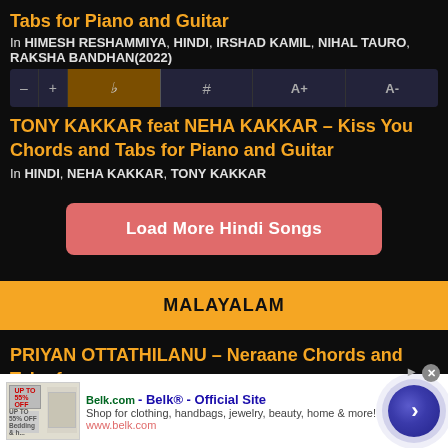Tabs for Piano and Guitar
In HIMESH RESHAMMIYA, HINDI, IRSHAD KAMIL, NIHAL TAURO, RAKSHA BANDHAN(2022)
[Figure (screenshot): Toolbar with music notation controls: flat, sharp, A+, A- buttons]
TONY KAKKAR feat NEHA KAKKAR – Kiss You Chords and Tabs for Piano and Guitar
In HINDI, NEHA KAKKAR, TONY KAKKAR
Load More Hindi Songs
MALAYALAM
PRIYAN OTTATHILANU – Neraane Chords and Tabs for
[Figure (screenshot): Advertisement banner: Belk.com - Belk Official Site. Shop for clothing, handbags, jewelry, beauty, home & more! www.belk.com]